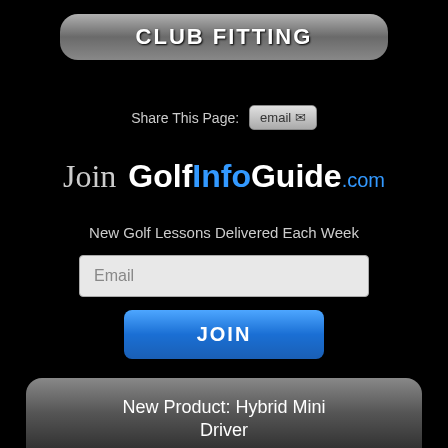CLUB FITTING
Share This Page: email
[Figure (logo): GolfInfoGuide.com logo with 'Join' text]
New Golf Lessons Delivered Each Week
[Figure (screenshot): Email input field with placeholder 'Email']
[Figure (screenshot): Blue JOIN button]
New Product: Hybrid Mini Driver
[Figure (photo): Product image placeholder (partially visible)]